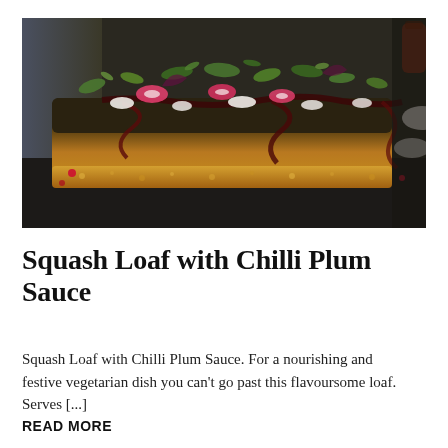[Figure (photo): Close-up food photograph of a squash loaf topped with salad greens, sliced radishes, crumbled white cheese, and dark chilli plum sauce drizzled over it, served on a dark slate surface.]
Squash Loaf with Chilli Plum Sauce
Squash Loaf with Chilli Plum Sauce. For a nourishing and festive vegetarian dish you can't go past this flavoursome loaf.  Serves [...]
READ MORE